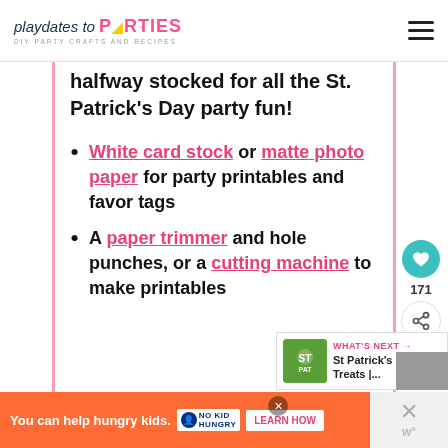playdates to PARTIES — DIY PARTY CRAFTS AND RECIPES
halfway stocked for all the St. Patrick's Day party fun!
White card stock or matte photo paper for party printables and favor tags
A paper trimmer and hole punches, or a cutting machine to make printables
WHAT'S NEXT → St Patrick's Day Treats |...
You can help hungry kids. NO KID HUNGRY LEARN HOW